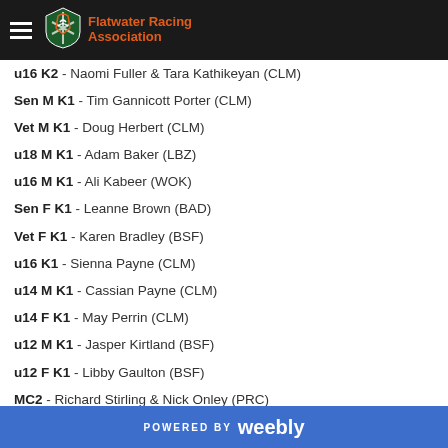Flatwater Racing Association
u16 K2 - Naomi Fuller & Tara Kathikeyan (CLM)
Sen M K1 - Tim Gannicott Porter (CLM)
Vet M K1 - Doug Herbert (CLM)
u18 M K1 - Adam Baker (LBZ)
u16 M K1 - Ali Kabeer (WOK)
Sen F K1 - Leanne Brown (BAD)
Vet F K1 - Karen Bradley (BSF)
u16 K1 - Sienna Payne (CLM)
u14 M K1 - Cassian Payne (CLM)
u14 F K1 - May Perrin (CLM)
u12 M K1 - Jasper Kirtland (BSF)
u12 F K1 - Libby Gaulton (BSF)
MC2 - Richard Stirling & Nick Onley (PRC)
Adv C1 - Ross Pearton (HEM)
M GP - Mike Hood (CLM)
POWERED BY weebly